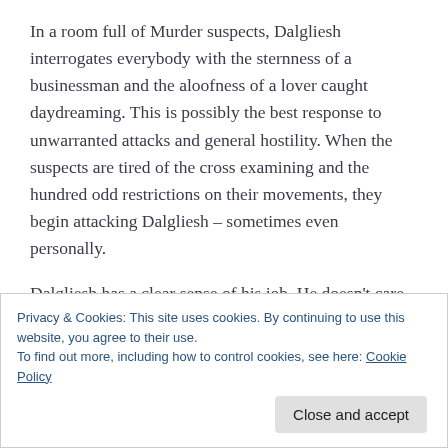In a room full of Murder suspects, Dalgliesh interrogates everybody with the sternness of a businessman and the aloofness of a lover caught daydreaming. This is possibly the best response to unwarranted attacks and general hostility. When the suspects are tired of the cross examining and the hundred odd restrictions on their movements, they begin attacking Dalgliesh – sometimes even personally.
Dalgliesh has a clear sense of his job. He doesn't care about settling power matters with those who question it.
Privacy & Cookies: This site uses cookies. By continuing to use this website, you agree to their use.
To find out more, including how to control cookies, see here: Cookie Policy